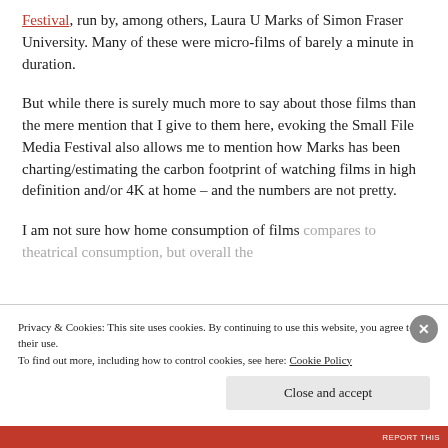Festival, run by, among others, Laura U Marks of Simon Fraser University. Many of these were micro-films of barely a minute in duration.
But while there is surely much more to say about those films than the mere mention that I give to them here, evoking the Small File Media Festival also allows me to mention how Marks has been charting/estimating the carbon footprint of watching films in high definition and/or 4K at home – and the numbers are not pretty.
I am not sure how home consumption of films compares to theatrical consumption, but overall the
Privacy & Cookies: This site uses cookies. By continuing to use this website, you agree to their use.
To find out more, including how to control cookies, see here: Cookie Policy
Close and accept